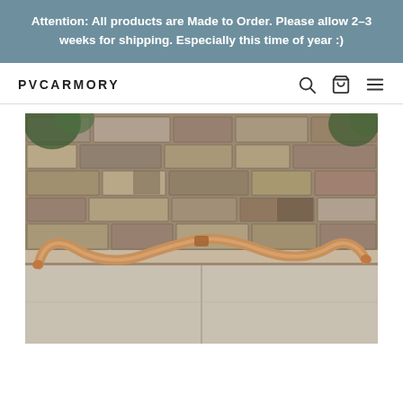Attention: All products are Made to Order. Please allow 2–3 weeks for shipping. Especially this time of year :)
PVCARMORY
[Figure (photo): A wooden recurve bow laid horizontally against a stone/brick wall backdrop on a concrete patio floor. The bow is light brown natural wood with curved tips pointing up.]